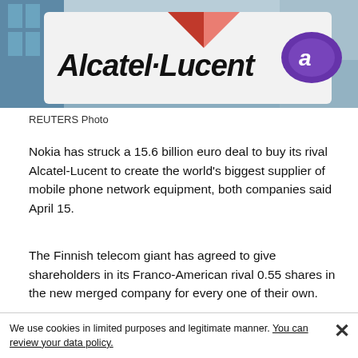[Figure (photo): Photo of an Alcatel-Lucent branded sign/billboard with the company logo and purple circular emblem, photographed against a building and sky background.]
REUTERS Photo
Nokia has struck a 15.6 billion euro deal to buy its rival Alcatel-Lucent to create the world's biggest supplier of mobile phone network equipment, both companies said April 15.
The Finnish telecom giant has agreed to give shareholders in its Franco-American rival 0.55 shares in the new merged company for every one of their own.
The new group "will be uniquely positioned to create the foundation of seamless connectivity for people and things wherever they are," Nokia's statement said.
We use cookies in limited purposes and legitimate manner. You can review your data policy.